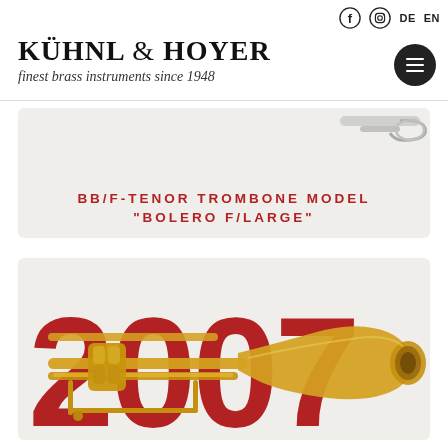KÜHNL & HOYER — finest brass instruments since 1948
BB/F-TENOR TROMBONE MODEL "BOLERO F/LARGE"
[Figure (photo): Gold lacquer BB/F-tenor trombone (Bolero F/Large model) by Kühnl & Hoyer, shown against a beige background with large red decorative numerals]
[Figure (photo): Partial view of a silver/brass trombone instrument detail in the upper portion of the page]